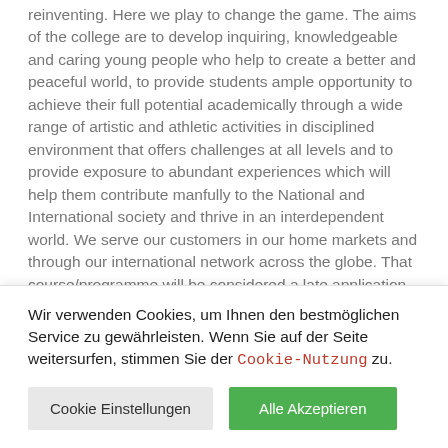reinventing. Here we play to change the game. The aims of the college are to develop inquiring, knowledgeable and caring young people who help to create a better and peaceful world, to provide students ample opportunity to achieve their full potential academically through a wide range of artistic and athletic activities in disciplined environment that offers challenges at all levels and to provide exposure to abundant experiences which will help them contribute manfully to the National and International society and thrive in an interdependent world. We serve our customers in our home markets and through our international network across the globe. That course/programme will be considered a late application and only considered by the university if places become available after selection. Our Center will promote healthy and positive relationships with our customers and in our environment...
Wir verwenden Cookies, um Ihnen den bestmöglichen Service zu gewährleisten. Wenn Sie auf der Seite weitersurfen, stimmen Sie der Cookie-Nutzung zu.
Cookie Einstellungen
Alle Akzeptieren